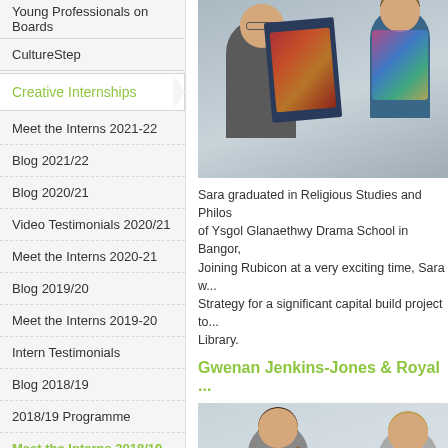Young Professionals on Boards
CultureStep
Creative Internships
Meet the Interns 2021-22
Blog 2021/22
Blog 2020/21
Video Testimonials 2020/21
Meet the Interns 2020-21
Blog 2019/20
Meet the Interns 2019-20
Intern Testimonials
Blog 2018/19
2018/19 Programme
Meet the Interns 2018/19
2017/18 Programme
Blog 2017/18
Meet the Interns 2017/18
[Figure (photo): Two women holding a large artwork/print with colorful imagery]
Sara graduated in Religious Studies and Philosophy of Ysgol Glanaethwy Drama School in Bangor, Joining Rubicon at a very exciting time, Sara w... Strategy for a significant capital build project to... Library.
Gwenan Jenkins-Jones & Royal ...
[Figure (photo): Two women, one holding a violin and another holding a puppet/doll]